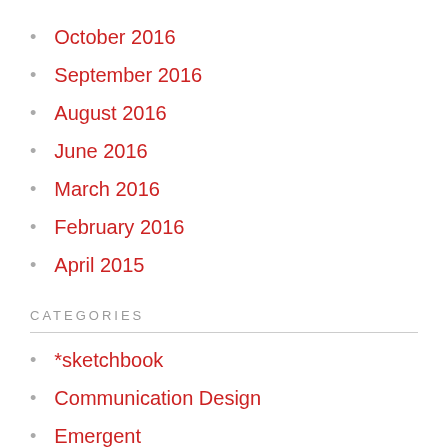October 2016
September 2016
August 2016
June 2016
March 2016
February 2016
April 2015
CATEGORIES
*sketchbook
Communication Design
Emergent
Film